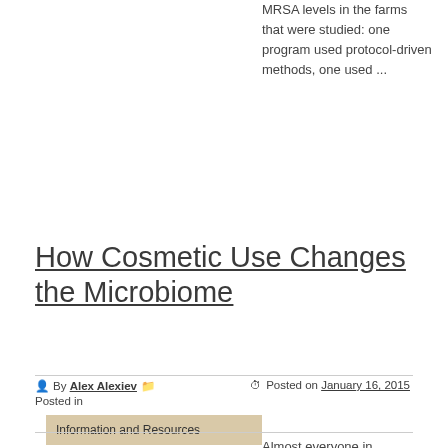MRSA levels in the farms that were studied: one program used protocol-driven methods, one used ...
How Cosmetic Use Changes the Microbiome
By Alex Alexiev  Posted in  Posted on January 16, 2015
Information and Resources
Almost everyone in